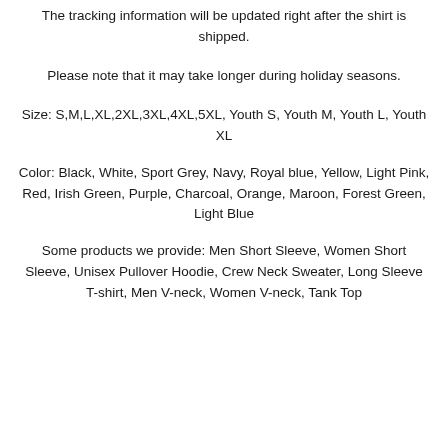The tracking information will be updated right after the shirt is shipped.
Please note that it may take longer during holiday seasons.
Size: S,M,L,XL,2XL,3XL,4XL,5XL, Youth S, Youth M, Youth L, Youth XL
Color: Black, White, Sport Grey, Navy, Royal blue, Yellow, Light Pink, Red, Irish Green, Purple, Charcoal, Orange, Maroon, Forest Green, Light Blue
Some products we provide: Men Short Sleeve, Women Short Sleeve, Unisex Pullover Hoodie, Crew Neck Sweater, Long Sleeve T-shirt, Men V-neck, Women V-neck, Tank Top